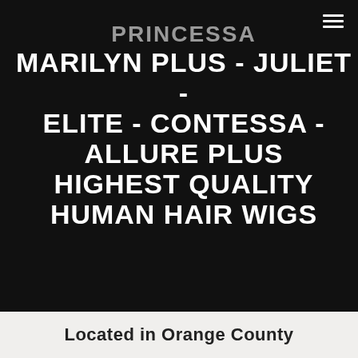PRINCESSA MARILYN PLUS - JULIET - ELITE - CONTESSA - ALLURE PLUS HIGHEST QUALITY HUMAN HAIR WIGS
Located in Orange County